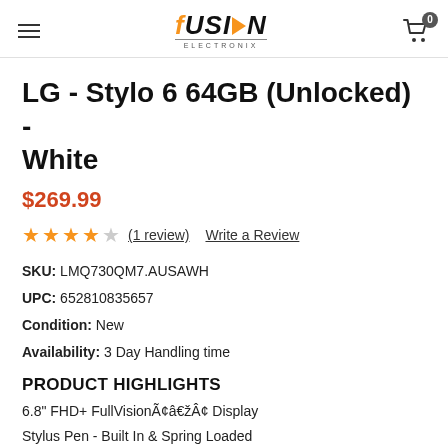fUSION ELECTRONIX
LG - Stylo 6 64GB (Unlocked) - White
$269.99
★★★★☆ (1 review)  Write a Review
SKU: LMQ730QM7.AUSAWH
UPC: 652810835657
Condition: New
Availability: 3 Day Handling time
PRODUCT HIGHLIGHTS
6.8" FHD+ FullVisionÃ¢â€žÂ¢ Display
Stylus Pen - Built In & Spring Loaded
Triple Rear Camera - 13MP Standard, 5MP Wide and 5MP Depth